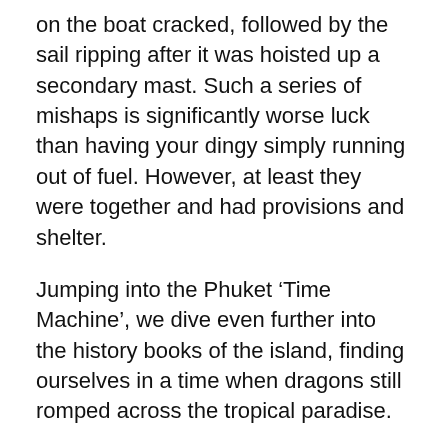on the boat cracked, followed by the sail ripping after it was hoisted up a secondary mast. Such a series of mishaps is significantly worse luck than having your dingy simply running out of fuel. However, at least they were together and had provisions and shelter.
Jumping into the Phuket ‘Time Machine’, we dive even further into the history books of the island, finding ourselves in a time when dragons still romped across the tropical paradise.
Patana Saelim brought a reporter from the Siang Tai Daily to witness evidence of the footprint that a dragon left on the roof of a friend’s pickup truck, reported the Gazette. The abbot of Wat Naka, Pra Boonsri, when consulted about the mythical appearance, refused to rule out a dragon. The man with the dragon-footprint truck vowed to not wash